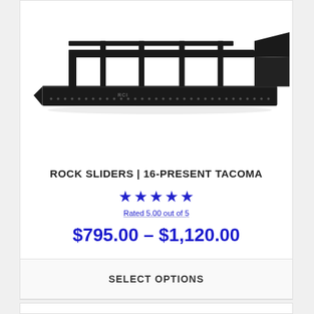[Figure (photo): Black metal rock sliders / side steps for a Toyota Tacoma, shown disassembled with mounting brackets. RCI branded product on white background.]
ROCK SLIDERS | 16-PRESENT TACOMA
★★★★★ (star rating, blue stars)
$795.00 – $1,120.00
SELECT OPTIONS